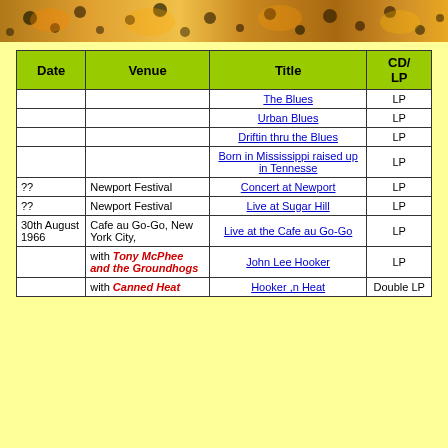[Figure (photo): Colorful photo banner at top of page with warm orange/yellow tones, appears to show musicians or concert imagery]
| Date | Venue | Title | CD/LP |
| --- | --- | --- | --- |
|  |  | The Blues | LP |
|  |  | Urban Blues | LP |
|  |  | Driftin thru the Blues | LP |
|  |  | Born in Mississippi raised up in Tennesse | LP |
| ?? | Newport Festival | Concert at Newport | LP |
| ?? | Newport Festival | Live at Sugar Hill | LP |
| 30th August 1966 | Cafe au Go-Go, New York City, | Live at the Cafe au Go-Go | LP |
|  | with Tony McPhee and the Groundhogs | John Lee Hooker | LP |
|  | with Canned Heat | Hooker ,n Heat | Double LP |